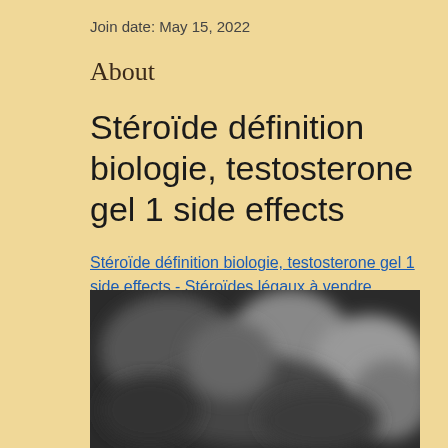Join date: May 15, 2022
About
Stéroïde définition biologie, testosterone gel 1 side effects
Stéroïde définition biologie, testosterone gel 1 side effects - Stéroïdes légaux à vendre
[Figure (photo): Blurred photograph, appears to show a person or scene, black and white tones, heavily blurred]